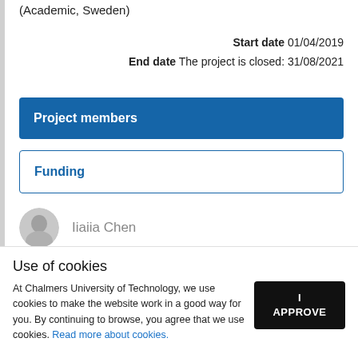(Academic, Sweden)
Start date 01/04/2019
End date The project is closed: 31/08/2021
Project members
Funding
Iiaiia Chen
Use of cookies
At Chalmers University of Technology, we use cookies to make the website work in a good way for you. By continuing to browse, you agree that we use cookies. Read more about cookies.
I APPROVE